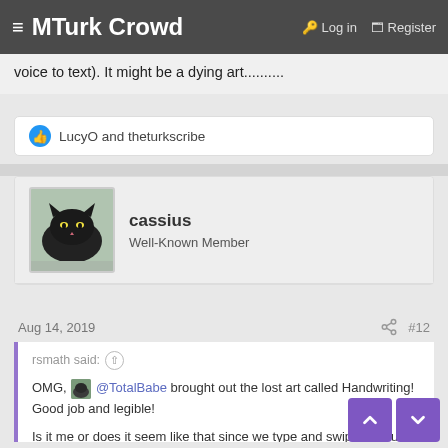≡ MTurk Crowd  🔑 Log in  🗔 Register
voice to text). It might be a dying art..........
👍 LucyO and theturkscribe
cassius
Well-Known Member
Aug 14, 2019  #12
rsmath said: ↑

OMG, @TotalBabe brought out the lost art called Handwriting! Good job and legible!

Is it me or does it seem like that since we type and swipe so much today that our handwriting looks tons worse than it did years ago when we would do a lot more writing?